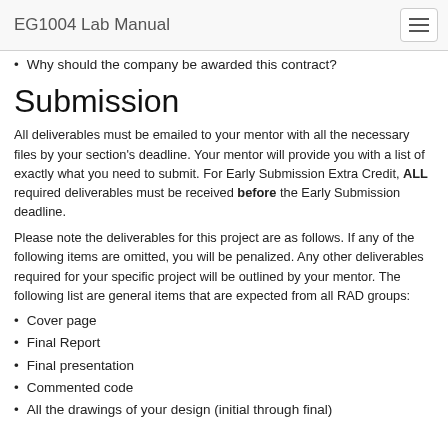EG1004 Lab Manual
Why should the company be awarded this contract?
Submission
All deliverables must be emailed to your mentor with all the necessary files by your section's deadline. Your mentor will provide you with a list of exactly what you need to submit. For Early Submission Extra Credit, ALL required deliverables must be received before the Early Submission deadline.
Please note the deliverables for this project are as follows. If any of the following items are omitted, you will be penalized. Any other deliverables required for your specific project will be outlined by your mentor. The following list are general items that are expected from all RAD groups:
Cover page
Final Report
Final presentation
Commented code
All the drawings of your design (initial through final)